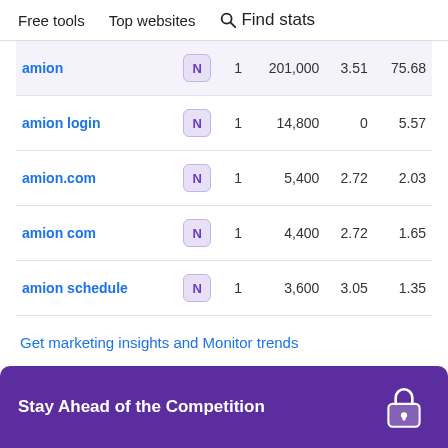Free tools   Top websites   🔍 Find stats
| Keyword | Type | Pos | Volume | CPC | Traffic |
| --- | --- | --- | --- | --- | --- |
| amion | N | 1 | 201,000 | 3.51 | 75.68 |
| amion login | N | 1 | 14,800 | 0 | 5.57 |
| amion.com | N | 1 | 5,400 | 2.72 | 2.03 |
| amion com | N | 1 | 4,400 | 2.72 | 1.65 |
| amion schedule | N | 1 | 3,600 | 3.05 | 1.35 |
Get marketing insights and Monitor trends
Stay Ahead of the Competition